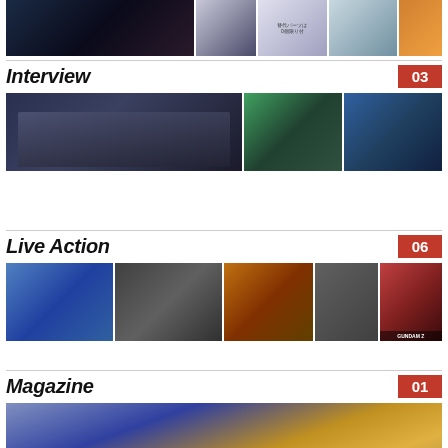[Figure (photo): Clipped top portion of anime/media images row — partially visible]
Interview 03
[Figure (photo): Interview section image row: large left image of a smiling man in dark jacket, two smaller right images including a woman in green and an anime character]
Live Action 06
[Figure (photo): Live Action section image row: mecha suit, group of people in suits, golden monster figure, bearded man, anime girl with Gundam Z logo]
Magazine 01
[Figure (photo): Magazine section partially visible image — anime/superhero characters]